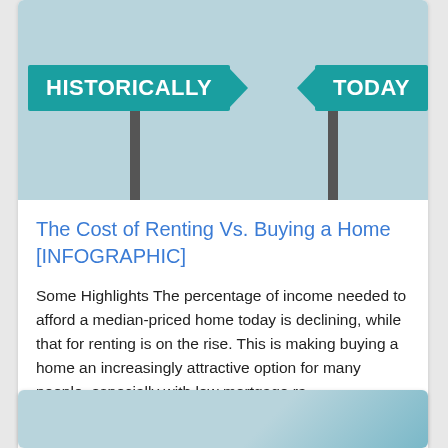[Figure (infographic): Infographic showing two street signs on poles against a light blue background: left sign reads 'HISTORICALLY' (with arrow pointing right), right sign reads 'TODAY' (with arrow pointing left).]
The Cost of Renting Vs. Buying a Home [INFOGRAPHIC]
Some Highlights The percentage of income needed to afford a median-priced home today is declining, while that for renting is on the rise. This is making buying a home an increasingly attractive option for many people, especially with low mortgage ra...
Written by KCM Crew
August 28, 2020
[Figure (photo): Partial view of a second article card at the bottom of the page, showing only the top portion of an image.]